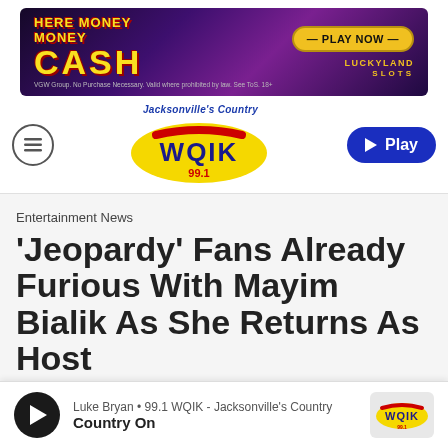[Figure (illustration): Advertisement banner for LuckyLand Slots - Here Money Money CASH - Play Now]
[Figure (logo): WQIK 99.1 Jacksonville's Country radio station logo with Play button]
Entertainment News
'Jeopardy' Fans Already Furious With Mayim Bialik As She Returns As Host
By Dave Basner
[Figure (other): Audio player bar showing Luke Bryan • 99.1 WQIK - Jacksonville's Country, track: Country On, with WQIK logo]